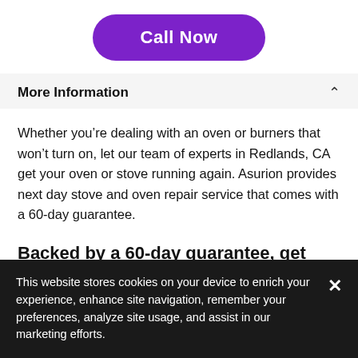[Figure (other): Purple rounded rectangle button labeled 'Call Now']
More Information
Whether you're dealing with an oven or burners that won't turn on, let our team of experts in Redlands, CA get your oven or stove running again. Asurion provides next day stove and oven repair service that comes with a 60-day guarantee.
Backed by a 60-day guarantee, get
This website stores cookies on your device to enrich your experience, enhance site navigation, remember your preferences, analyze site usage, and assist in our marketing efforts.